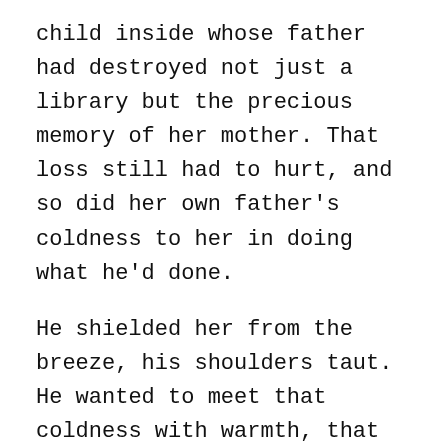child inside whose father had destroyed not just a library but the precious memory of her mother. That loss still had to hurt, and so did her own father's coldness to her in doing what he'd done.
He shielded her from the breeze, his shoulders taut. He wanted to meet that coldness with warmth, that loss with comfort, destruction with creation. Nothing would harm her like that again, not while he drew breath.
Against a field of lavender, she gazed up